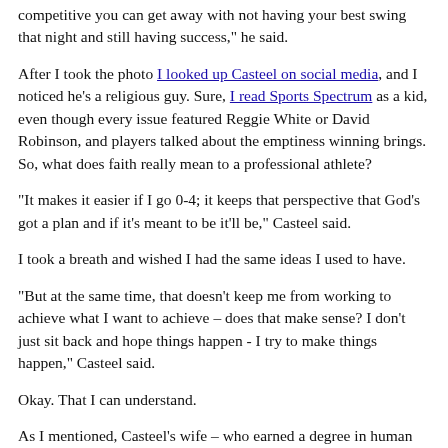competitive you can get away with not having your best swing that night and still having success," he said.
After I took the photo I looked up Casteel on social media, and I noticed he's a religious guy. Sure, I read Sports Spectrum as a kid, even though every issue featured Reggie White or David Robinson, and players talked about the emptiness winning brings. So, what does faith really mean to a professional athlete?
"It makes it easier if I go 0-4; it keeps that perspective that God’s got a plan and if it’s meant to be it’ll be," Casteel said.
I took a breath and wished I had the same ideas I used to have.
"But at the same time, that doesn’t keep me from working to achieve what I want to achieve – does that make sense? I don’t just sit back and hope things happen - I try to make things happen," Casteel said.
Okay. That I can understand.
As I mentioned, Casteel’s wife – who earned a degree in human development, with minors in business and theology – works as a personal assistant during the off-season.
(I’ve done the same thing in Springfield and Seattle.)